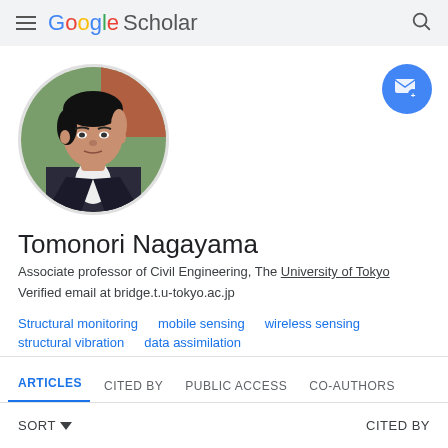Google Scholar
[Figure (photo): Circular profile photo of Tomonori Nagayama, an Asian man wearing a dark suit jacket and white shirt, with trees and a brick building in background]
Tomonori Nagayama
Associate professor of Civil Engineering, The University of Tokyo
Verified email at bridge.t.u-tokyo.ac.jp
Structural monitoring
mobile sensing
wireless sensing
structural vibration
data assimilation
ARTICLES   CITED BY   PUBLIC ACCESS   CO-AUTHORS
SORT   CITED BY